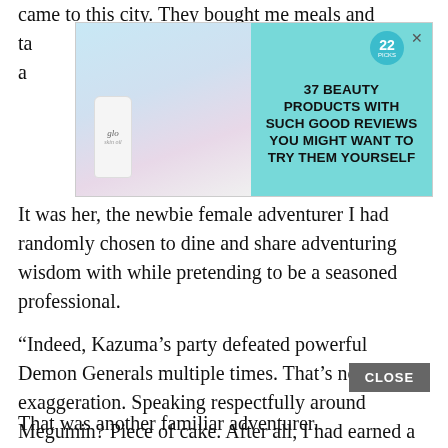came to this city. They bought me meals and ta… a…
[Figure (screenshot): Advertisement banner: '37 Beauty Products With Such Good Reviews You Might Want To Try Them Yourself' with a badge showing '22' and an image of a woman and cosmetic bottle on cyan/teal background]
It was her, the newbie female adventurer I had randomly chosen to dine and share adventuring wisdom with while pretending to be a seasoned professional.
“Indeed, Kazuma’s party defeated powerful Demon Generals multiple times. That’s no exaggeration. Speaking respectfully around Megumin? Piece of cake. After all, I had earned a hefty sum fighting strong monsters with you.”
That was another familiar adventurer.